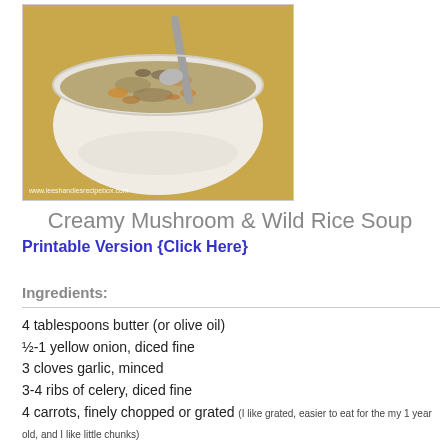[Figure (photo): A white bowl of creamy mushroom and wild rice soup with carrots and mushrooms visible, a spoon resting in the bowl, on a yellow background. Watermark: www.leeshandiesrecipebox.com]
Creamy Mushroom & Wild Rice Soup
Printable Version {Click Here}
Ingredients:
4 tablespoons butter (or olive oil)
½-1 yellow onion, diced fine
3 cloves garlic, minced
3-4 ribs of celery, diced fine
4 carrots, finely chopped or grated (I like grated, easier to eat for the my 1 year old, and I like little chunks)
1 teaspoon thyme
16 ounces mushrooms, chopped (I chop them fine so my 4 year old doesn't